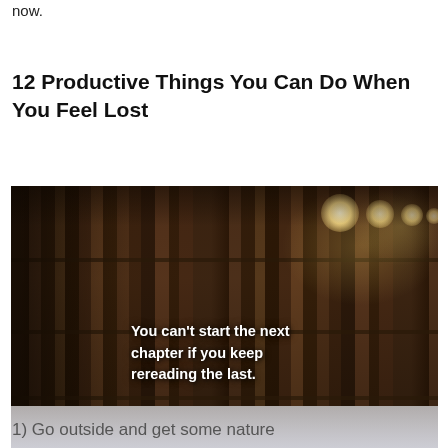now.
12 Productive Things You Can Do When You Feel Lost
[Figure (photo): Photo of a library with bookshelves and hanging Edison bulbs, overlaid with the quote: 'You can't start the next chapter if you keep rereading the last.']
1) Go outside and get some nature